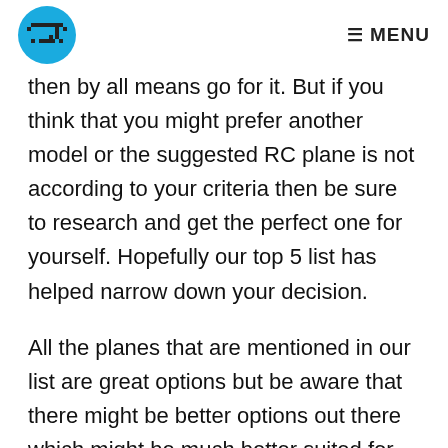MENU
then by all means go for it. But if you think that you might prefer another model or the suggested RC plane is not according to your criteria then be sure to research and get the perfect one for yourself. Hopefully our top 5 list has helped narrow down your decision.
All the planes that are mentioned in our list are great options but be aware that there might be better options out there which might be much better suited for you.